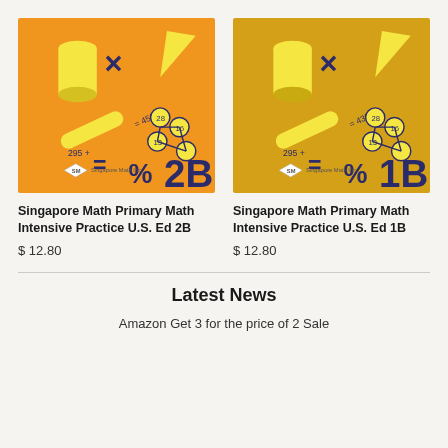[Figure (illustration): Book cover for Singapore Math Primary Math Intensive Practice U.S. Ed 2B, orange background with math symbols, a cylinder, triangle, multiplication sign, equals sign, percentage sign, and large 2B]
Singapore Math Primary Math Intensive Practice U.S. Ed 2B
$ 12.80
[Figure (illustration): Book cover for Singapore Math Primary Math Intensive Practice U.S. Ed 1B, golden/yellow background with math symbols, a cylinder, triangle, multiplication sign, equals sign, percentage sign, and large 1B]
Singapore Math Primary Math Intensive Practice U.S. Ed 1B
$ 12.80
Latest News
Amazon Get 3 for the price of 2 Sale